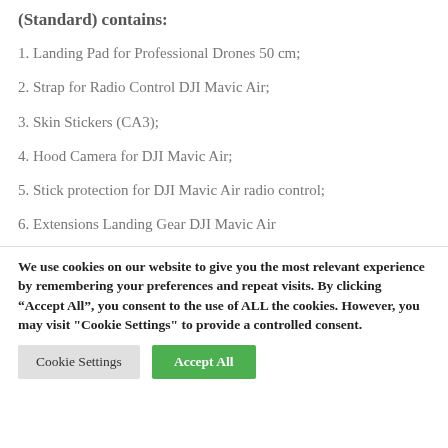(Standard) contains:
1. Landing Pad for Professional Drones 50 cm;
2. Strap for Radio Control DJI Mavic Air;
3. Skin Stickers (CA3);
4. Hood Camera for DJI Mavic Air;
5. Stick protection for DJI Mavic Air radio control;
6. Extensions Landing Gear DJI Mavic Air
We use cookies on our website to give you the most relevant experience by remembering your preferences and repeat visits. By clicking “Accept All”, you consent to the use of ALL the cookies. However, you may visit "Cookie Settings" to provide a controlled consent.